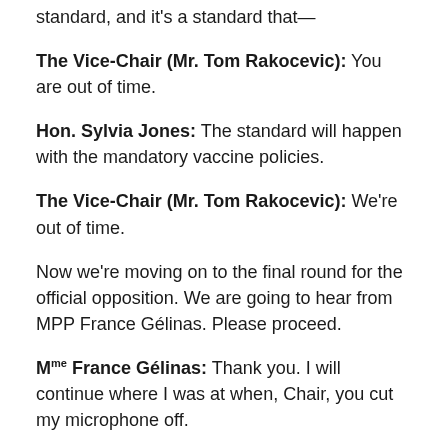standard, and it's a standard that—
The Vice-Chair (Mr. Tom Rakocevic): You are out of time.
Hon. Sylvia Jones: The standard will happen with the mandatory vaccine policies.
The Vice-Chair (Mr. Tom Rakocevic): We're out of time.
Now we're moving on to the final round for the official opposition. We are going to hear from MPP France Gélinas. Please proceed.
Mme France Gélinas: Thank you. I will continue where I was at when, Chair, you cut my microphone off.
Minister, I fully understand that we need to be educating the people who are vaccine-hesitant. We need to be informing all Ontarians that it is easy. You don't need an appointment; you can just show up. The bus is going to be at the park tomorrow. I'm all for this. It works brilliantly in